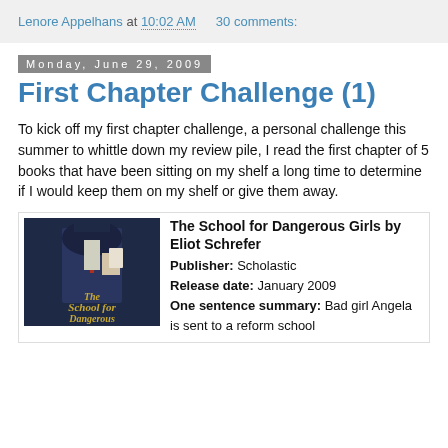Lenore Appelhans at 10:02 AM   30 comments:
Monday, June 29, 2009
First Chapter Challenge (1)
To kick off my first chapter challenge, a personal challenge this summer to whittle down my review pile, I read the first chapter of 5 books that have been sitting on my shelf a long time to determine if I would keep them on my shelf or give them away.
The School for Dangerous Girls by Eliot Schrefer
Publisher: Scholastic
Release date: January 2009
One sentence summary: Bad girl Angela is sent to a reform school
[Figure (photo): Book cover of The School for Dangerous Girls showing a person in dark clothing holding something, with gothic-style title text]